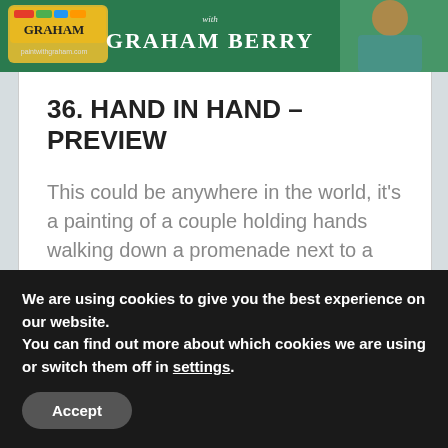[Figure (photo): Banner header image for 'Paint with Graham' website showing Graham Berry logo on green background with a person painting at a desk]
36. HAND IN HAND – PREVIEW
This could be anywhere in the world, it's a painting of a couple holding hands walking down a promenade next to a beautiful blue and green sea. We use lots of colours in our shadows, whilst retaining the highlights using the white of the paper. Our background wash creates a grounding for our subjects
We are using cookies to give you the best experience on our website.
You can find out more about which cookies we are using or switch them off in settings.
Accept